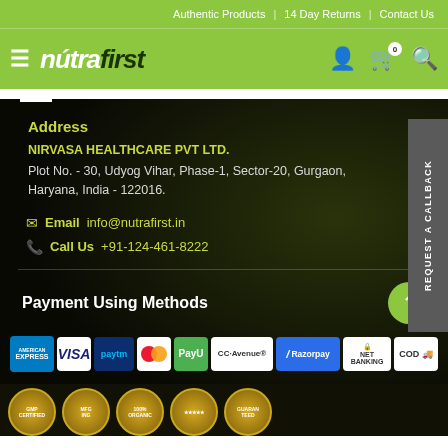Authentic Products | 14 Day Returns | Contact Us
[Figure (logo): NutraFirst logo with hamburger menu icon on green navigation bar]
Address
NIRVASA HEALTHCARE PVT LTD.
Plot No. - 30, Udyog Vihar, Phase-1, Sector-20, Gurgaon, Haryana, India - 122016.
Email info@nutrafirst.in
Call Us +91-124-461-8222
Payment Using Methods
[Figure (infographic): Payment method logos: American Express, VISA, Paytm, Mastercard, PayU, CC Avenue, Razorpay, Net Banking, COD]